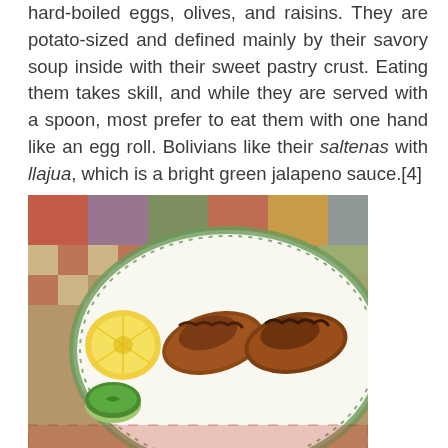hard-boiled eggs, olives, and raisins. They are potato-sized and defined mainly by their savory soup inside with their sweet pastry crust. Eating them takes skill, and while they are served with a spoon, most prefer to eat them with one hand like an egg roll. Bolivians like their saltenas with llajua, which is a bright green jalapeno sauce.[4]
[Figure (photo): A plate with two saltenas (Bolivian baked pastries) served with a halved lemon and a small cup of bright green llajua (jalapeno sauce). The plate has a decorative green floral border and sits on a colorful patchwork tablecloth.]